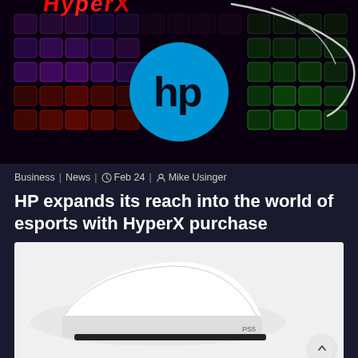[Figure (photo): HyperX logo in red stylized text over a rainbow RGB gaming keyboard background, with HP blue circle logo overlaid in the center]
Business | News | Feb 24 | Mike Usinger
HP expands its reach into the world of esports with HyperX purchase
[Figure (photo): White PlayStation 5 console on white background]